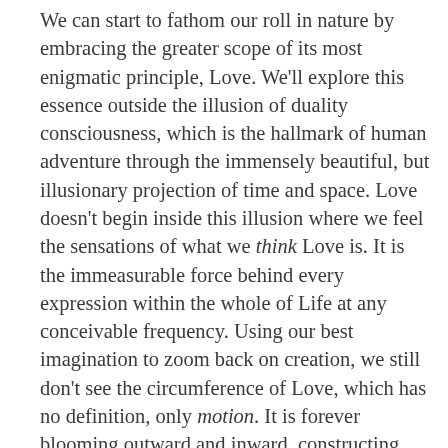We can start to fathom our roll in nature by embracing the greater scope of its most enigmatic principle, Love. We'll explore this essence outside the illusion of duality consciousness, which is the hallmark of human adventure through the immensely beautiful, but illusionary projection of time and space. Love doesn't begin inside this illusion where we feel the sensations of what we think Love is. It is the immeasurable force behind every expression within the whole of Life at any conceivable frequency. Using our best imagination to zoom back on creation, we still don't see the circumference of Love, which has no definition, only motion. It is forever blooming outward and inward, constructing, creating, evolving and breathing through every medium. It is the deepest and most pervasive abstraction behind all that is taking place in this moment. Love is simply the only true nature of anything. This inclusive scope of Love may not be what some believe is possible or initially feel very